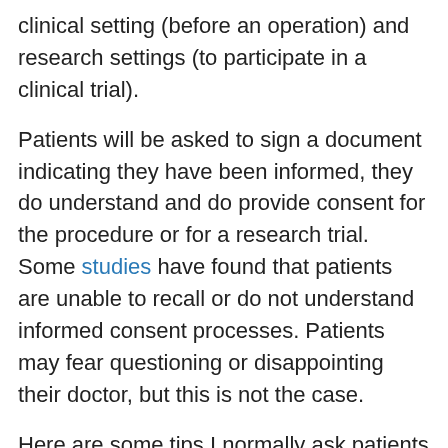clinical setting (before an operation) and research settings (to participate in a clinical trial).
Patients will be asked to sign a document indicating they have been informed, they do understand and do provide consent for the procedure or for a research trial. Some studies have found that patients are unable to recall or do not understand informed consent processes. Patients may fear questioning or disappointing their doctor, but this is not the case.
Here are some tips I normally ask patients to remember that will help to retain critical information:
Whenever possible, bring a family member or a friend along to the consultation. This is another pair of eyes and ears that will help understand better. It